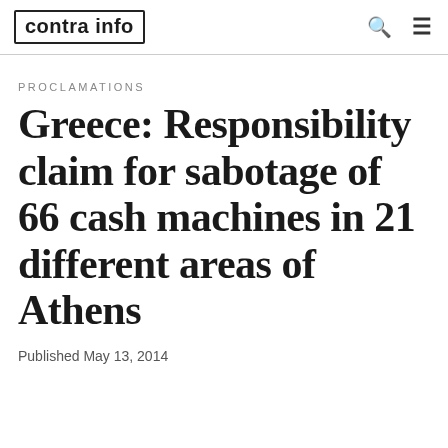contra info
PROCLAMATIONS
Greece: Responsibility claim for sabotage of 66 cash machines in 21 different areas of Athens
Published May 13, 2014